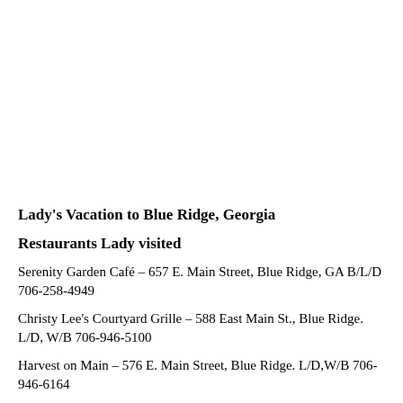Lady's Vacation to Blue Ridge, Georgia
Restaurants Lady visited
Serenity Garden Café – 657 E. Main Street, Blue Ridge, GA B/L/D 706-258-4949
Christy Lee's Courtyard Grille – 588 East Main St., Blue Ridge. L/D, W/B 706-946-5100
Harvest on Main – 576 E. Main Street, Blue Ridge. L/D,W/B 706-946-6164
Toccoa Riverside Restaurant – 8055 Aska Road, Blue Ridge. L/D